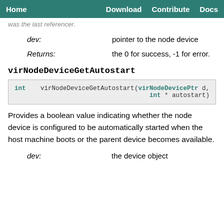Home | Download | Contribute | Docs
was the last referencer.
| dev: | pointer to the node device |
| Returns: | the 0 for success, -1 for error. |
virNodeDeviceGetAutostart
int   virNodeDeviceGetAutostart   (virNodeDevicePtr d,
   int * autostart)
Provides a boolean value indicating whether the node device is configured to be automatically started when the host machine boots or the parent device becomes available.
| dev: | the device object |